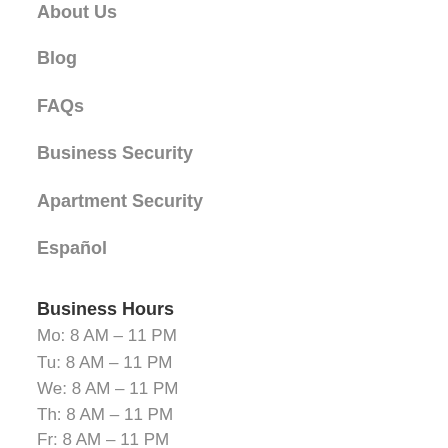About Us
Blog
FAQs
Business Security
Apartment Security
Español
Business Hours
Mo: 8 AM – 11 PM
Tu: 8 AM – 11 PM
We: 8 AM – 11 PM
Th: 8 AM – 11 PM
Fr: 8 AM – 11 PM